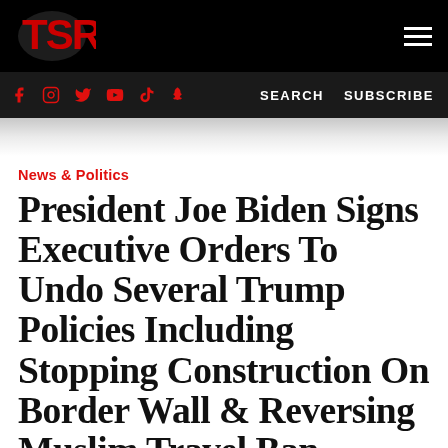TSR
SEARCH  SUBSCRIBE
News & Politics
President Joe Biden Signs Executive Orders To Undo Several Trump Policies Including Stopping Construction On Border Wall & Reversing Muslim Travel Ban